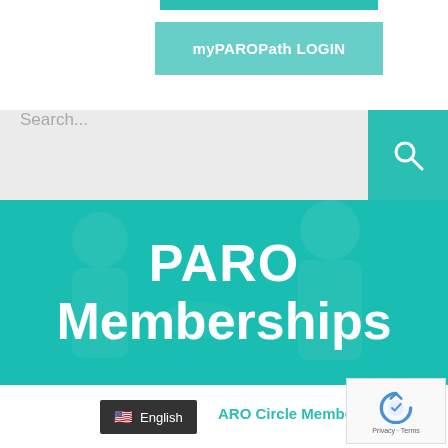[Figure (screenshot): Top teal bar partially visible at top of page]
[Figure (screenshot): myPAROPath LOGIN button in teal/light blue color]
[Figure (screenshot): Search bar with placeholder text and teal search button icon]
PARO Memberships
[Figure (screenshot): Language switcher showing English with US flag, reCAPTCHA badge, and partial teal text 'ARO Circle Member for']